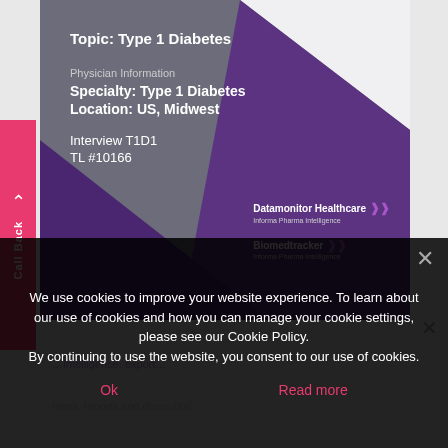[Figure (other): Cover image of a Datamonitor Healthcare / Biomedtracker KOL report on Type 1 Diabetes. Grey and purple geometric shapes with white text: Topic: Type 1 Diabetes, Specialty: Type 1 Diabetes, Location: US Midwest, Interview T1D1, TL #10166. Two logos: Datamonitor Healthcare and Biomedtracker.]
Type 1 Diabetes KOL
We use cookies to improve your website experience. To learn about our use of cookies and how you can manage your cookie settings, please see our Cookie Policy.
By continuing to use the website, you consent to our use of cookies.
Ok
Read more